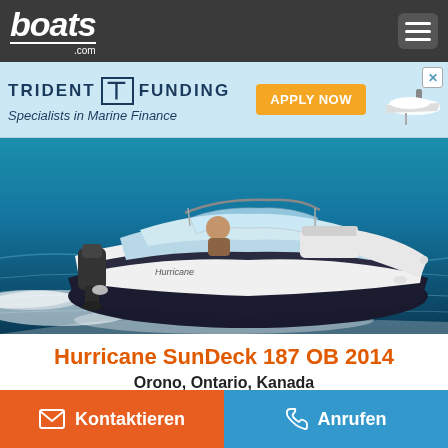boats.com
[Figure (screenshot): Trident Funding advertisement banner — 'TRIDENT FUNDING — Specialists in Marine Finance — APPLY NOW' with a boat image]
[Figure (photo): A white and dark Hurricane SunDeck 187 OB boat speeding across turquoise water, person seated at the helm, outboard motor visible at stern]
Hurricane SunDeck 187 OB 2014
Orono, Ontario, Kanada
€35.767
Kontaktieren
Anrufen